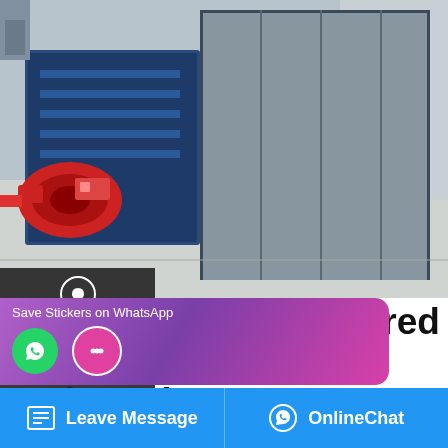[Figure (photo): Industrial diesel-fired condensing boiler in a factory/warehouse setting. Large blue boiler cabinet with red burner assembly on the left side, gray control panels, warehouse floor visible.]
Supplier 10t Diesel Fired Condensing Boiler Turkmenistan
4t 10t heavy oil fired steam boiler. 6t Diesel Boiler Che. 4T 6T Heavy Oil Fired Steam Boil. Boiler Start-up 20 Oils used to start-up LDO (Light Diesel Oil) HFO (Heavy Fuel Oil); 21. 6t/h steam boiler (14.000 lb/h) - LTS France Steam boilers. 6t/h steam boiler (14.000 lb/h) The cabin allows to operate the boiler ...ess the PLC the Consumption of light
[Figure (screenshot): WhatsApp sticker save popup with purple/pink gradient background showing phone and chat icons]